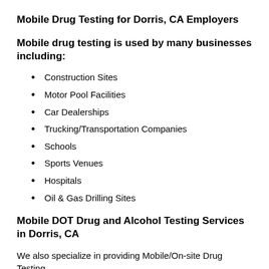Mobile Drug Testing for Dorris, CA Employers
Mobile drug testing is used by many businesses including:
Construction Sites
Motor Pool Facilities
Car Dealerships
Trucking/Transportation Companies
Schools
Sports Venues
Hospitals
Oil & Gas Drilling Sites
Mobile DOT Drug and Alcohol Testing Services in Dorris, CA
We also specialize in providing Mobile/On-site Drug Testing